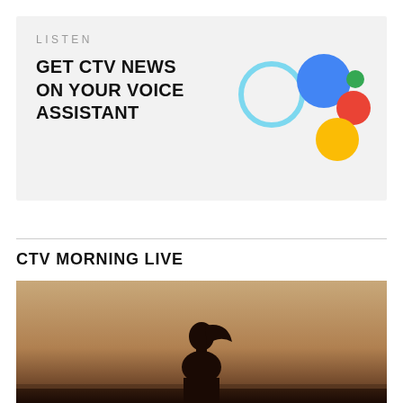LISTEN
GET CTV NEWS ON YOUR VOICE ASSISTANT
[Figure (logo): Amazon Alexa and Google Assistant voice assistant icons: a light blue circle outline (Alexa), a blue circle, red circle, yellow circle (Google Assistant dots)]
CTV MORNING LIVE
[Figure (photo): Silhouette of a person with long hair against a warm golden/orange hazy sky background, horizon visible]